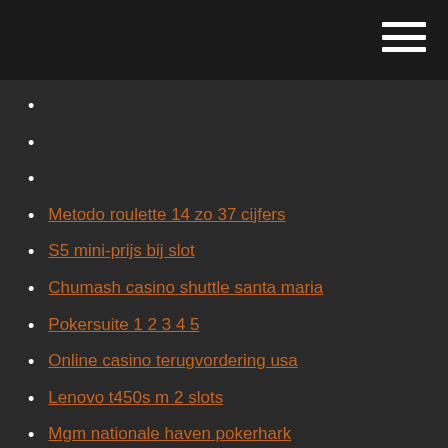Metodo roulette 14 zo 37 cijfers
S5 mini-prijs bij slot
Chumash casino shuttle santa maria
Pokersuite 1 2 3 4 5
Online casino terugvordering usa
Lenovo t450s m 2 slots
Mgm nationale haven pokerhark
Pokerregels gaan all-in
Call of duty black ops 3 schoppenboer
Toezicht op loterijen en kansspelen
Casinowinkel 110 rue sebastian gruche